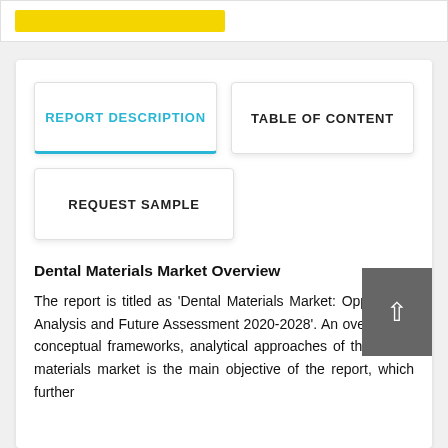[Figure (other): Yellow button/banner element at top of page inside a white card]
REPORT DESCRIPTION
TABLE OF CONTENT
REQUEST SAMPLE
Dental Materials Market Overview
The report is titled as 'Dental Materials Market: Opportunity Analysis and Future Assessment 2020-2028'. An overview of conceptual frameworks, analytical approaches of the dental materials market is the main objective of the report, which further